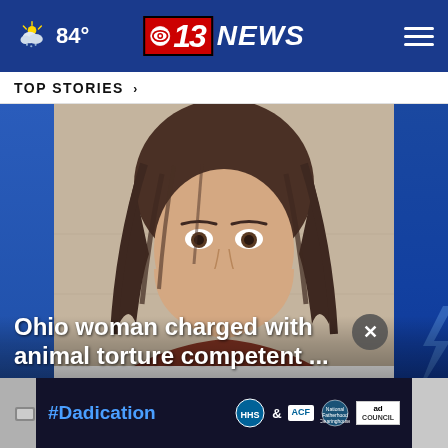84° — CBS 13 NEWS — Navigation menu
TOP STORIES ›
[Figure (photo): Mugshot of a woman with long brown hair against a beige/gray wall, associated with an Ohio animal torture story]
Ohio woman charged with animal torture competent ...
[Figure (infographic): Ad banner: #Dadication with HHS ACF and Ad Council logos]